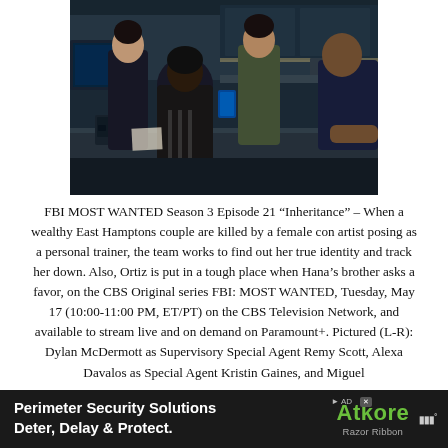[Figure (photo): Scene from FBI Most Wanted showing several people in an office/meeting room setting. A person is seated at a desk with a phone and computer monitor visible. Others are standing around. The scene is dimly lit with dark tones.]
FBI MOST WANTED Season 3 Episode 21 “Inheritance” – When a wealthy East Hamptons couple are killed by a female con artist posing as a personal trainer, the team works to find out her true identity and track her down. Also, Ortiz is put in a tough place when Hana’s brother asks a favor, on the CBS Original series FBI: MOST WANTED, Tuesday, May 17 (10:00-11:00 PM, ET/PT) on the CBS Television Network, and available to stream live and on demand on Paramount+. Pictured (L-R): Dylan McDermott as Supervisory Special Agent Remy Scott, Alexa Davalos as Special Agent Kristin Gaines, and Miguel
[Figure (other): Advertisement banner for Atkore Razor Ribbon perimeter security solutions. Black background with white bold text on left reading 'Perimeter Security Solutions Deter, Delay & Protect.' and Atkore Razor Ribbon logo in green on the right.]